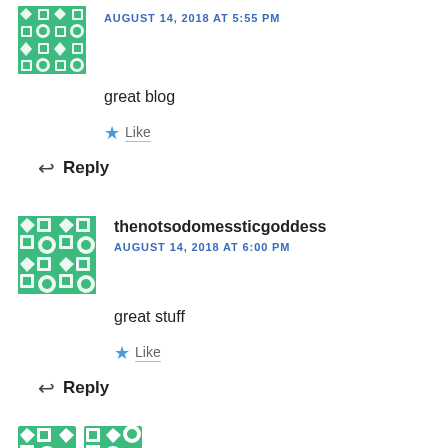[Figure (illustration): Green tiled avatar icon for first comment]
AUGUST 14, 2018 AT 5:55 PM
great blog
Like
Reply
[Figure (illustration): Green tiled avatar icon for thenotsodomessticgoddess]
thenotsodomessticgoddess
AUGUST 14, 2018 AT 6:00 PM
great stuff
Like
Reply
[Figure (illustration): Two partial green avatar icons at bottom]